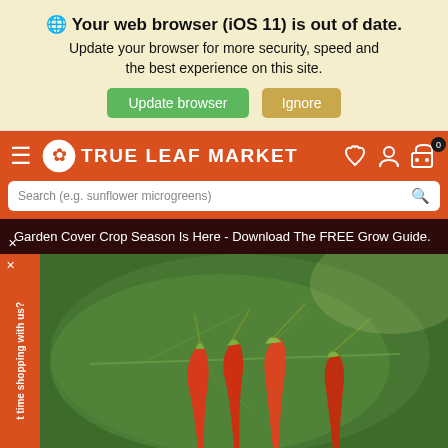🌐 Your web browser (iOS 11) is out of date. Update your browser for more security, speed and the best experience on this site.
Update browser | Ignore
[Figure (screenshot): True Leaf Market website navigation bar with logo, hamburger menu, search bar, phone, account, and cart icons on orange background]
Garden Cover Crop Season Is Here - Download The FREE Grow Guide.
[Figure (photo): Close-up photo of red chili peppers on a large green leaf]
t time shopping with us?
My Catalog | Cart | Shop | Chat | Rewards